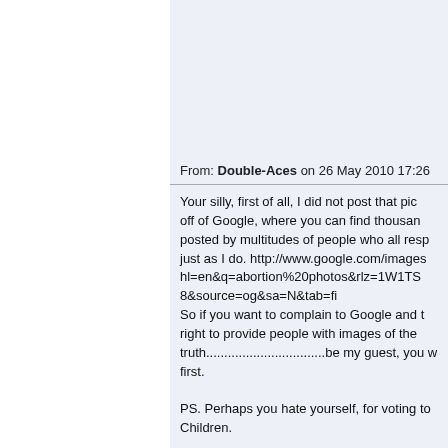>
>
>
>
From: Double-Aces on 26 May 2010 17:26
Your silly, first of all, I did not post that pic off of Google, where you can find thousands posted by multitudes of people who all respect just as I do. http://www.google.com/images hl=en&q=abortion%20photos&rlz=1W1TS 8&source=og&sa=N&tab=fi
So if you want to complain to Google and t right to provide people with images of the truth.................................be my guest, you w first.

PS. Perhaps you hate yourself, for voting to Children.

Chow.